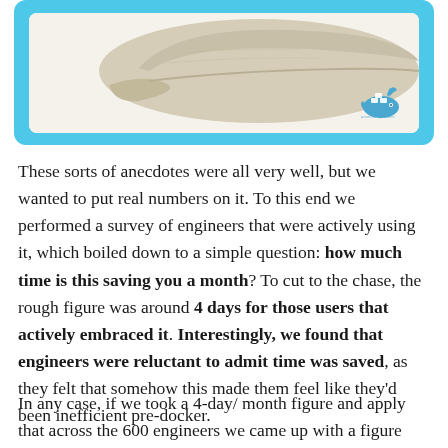[Figure (photo): A beige/tan flat cap (gatsby style hat) displayed on a white background, inside a light blue rounded rectangle frame. A small Docker whale logo is visible in the bottom-right corner of the frame.]
These sorts of anecdotes were all very well, but we wanted to put real numbers on it. To this end we performed a survey of engineers that were actively using it, which boiled down to a simple question: how much time is this saving you a month? To cut to the chase, the rough figure was around 4 days for those users that actively embraced it. Interestingly, we found that engineers were reluctant to admit time was saved, as they felt that somehow this made them feel like they'd been inefficient pre-docker.
In any case, if we took a 4-day/ month figure and apply that across the 600 engineers we came up with a figure